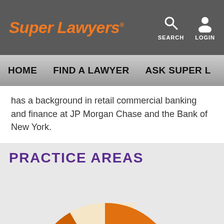Super Lawyers® — SEARCH  LOGIN
HOME   FIND A LAWYER   ASK SUPER L
has a background in retail commercial banking and finance at JP Morgan Chase and the Bank of New York.
PRACTICE AREAS
[Figure (donut-chart): Donut chart showing practice areas distribution in shades of orange and cream/beige, partially visible, cut off at bottom of page.]